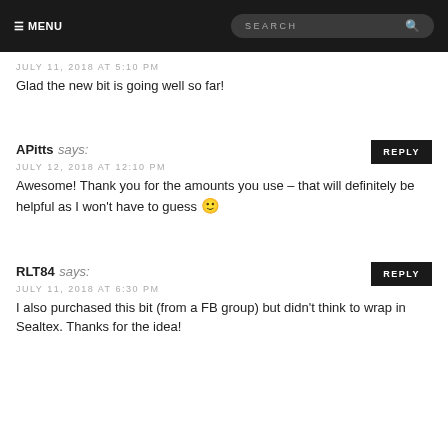≡ MENU   SEARCH
JULY 11, 2018 AT 5:10 PM
Glad the new bit is going well so far!
APitts says:
JULY 12, 2018 AT 12:10 PM
Awesome! Thank you for the amounts you use – that will definitely be helpful as I won't have to guess 🙂
RLT84 says:
JULY 11, 2018 AT 6:30 PM
I also purchased this bit (from a FB group) but didn't think to wrap in Sealtex. Thanks for the idea!